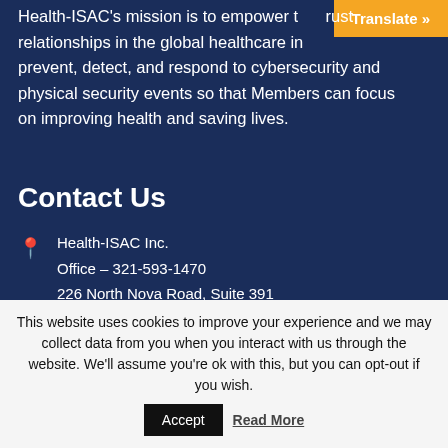Health-ISAC's mission is to empower trust relationships in the global healthcare industry to prevent, detect, and respond to cybersecurity and physical security events so that Members can focus on improving health and saving lives.
Contact Us
Health-ISAC Inc.
Office – 321-593-1470
226 North Nova Road, Suite 391
Ormond Beach, Florida 32174
This website uses cookies to improve your experience and we may collect data from you when you interact with us through the website. We'll assume you're ok with this, but you can opt-out if you wish.